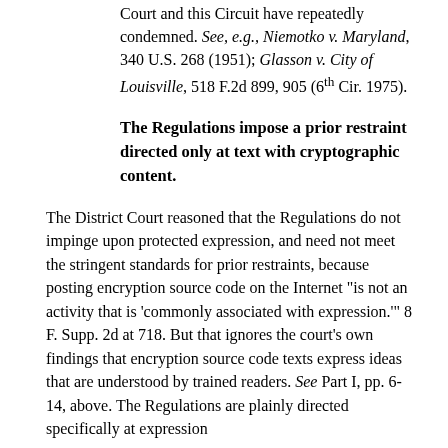Court and this Circuit have repeatedly condemned. See, e.g., Niemotko v. Maryland, 340 U.S. 268 (1951); Glasson v. City of Louisville, 518 F.2d 899, 905 (6th Cir. 1975).
The Regulations impose a prior restraint directed only at text with cryptographic content.
The District Court reasoned that the Regulations do not impinge upon protected expression, and need not meet the stringent standards for prior restraints, because posting encryption source code on the Internet "is not an activity that is 'commonly associated with expression.'" 8 F. Supp. 2d at 718. But that ignores the court's own findings that encryption source code texts express ideas that are understood by trained readers. See Part I, pp. 6-14, above. The Regulations are plainly directed specifically at expression